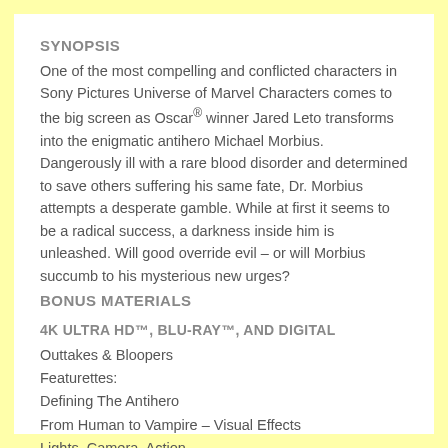SYNOPSIS
One of the most compelling and conflicted characters in Sony Pictures Universe of Marvel Characters comes to the big screen as Oscar® winner Jared Leto transforms into the enigmatic antihero Michael Morbius. Dangerously ill with a rare blood disorder and determined to save others suffering his same fate, Dr. Morbius attempts a desperate gamble. While at first it seems to be a radical success, a darkness inside him is unleashed. Will good override evil – or will Morbius succumb to his mysterious new urges?
BONUS MATERIALS
4K ULTRA HD™, BLU-RAY™, AND DIGITAL
Outtakes & Bloopers
Featurettes:
Defining The Antihero
From Human to Vampire – Visual Effects
Lights, Camera, Action